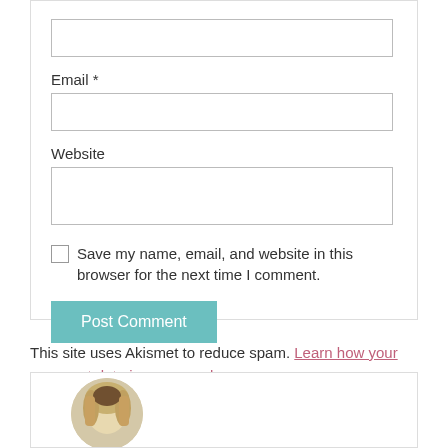Email *
Website
Save my name, email, and website in this browser for the next time I comment.
Post Comment
This site uses Akismet to reduce spam. Learn how your comment data is processed.
[Figure (photo): Circular avatar photo of a person with blonde hair]